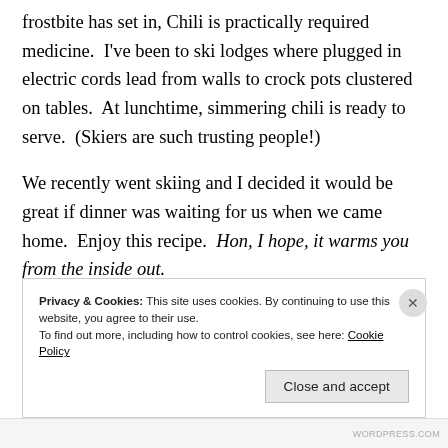frostbite has set in, Chili is practically required medicine.  I've been to ski lodges where plugged in electric cords lead from walls to crock pots clustered on tables.  At lunchtime, simmering chili is ready to serve.  (Skiers are such trusting people!)
We recently went skiing and I decided it would be great if dinner was waiting for us when we came home.  Enjoy this recipe.  Hon, I hope, it warms you from the inside out.
Privacy & Cookies: This site uses cookies. By continuing to use this website, you agree to their use.
To find out more, including how to control cookies, see here: Cookie Policy
Close and accept
WORDPRESS.COM